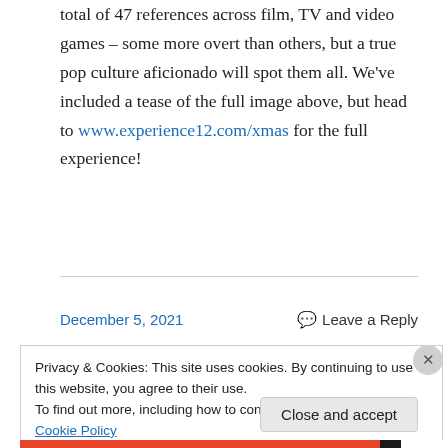total of 47 references across film, TV and video games – some more overt than others, but a true pop culture aficionado will spot them all. We've included a tease of the full image above, but head to www.experience12.com/xmas for the full experience!
December 5, 2021
Leave a Reply
Privacy & Cookies: This site uses cookies. By continuing to use this website, you agree to their use.
To find out more, including how to control cookies, see here: Cookie Policy
Close and accept